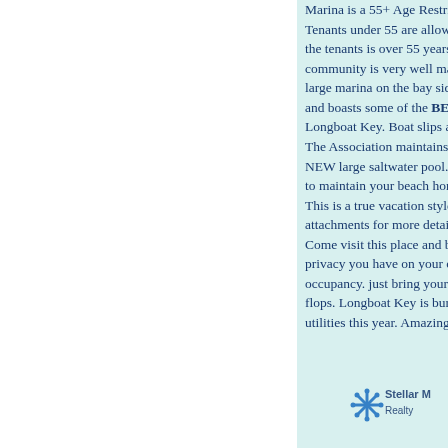Marina is a 55+ Age Restricted community. Tenants under 55 are allowed if at least one of the tenants is over 55 years of age. The community is very well maintained and offers a large marina on the bay side of the subdivision and boasts some of the BEST fishing on Longboat Key. Boat slips are available for rent. The Association maintains the clubhouse and a NEW large saltwater pool. Everything you need to maintain your beach home is done for you. This is a true vacation style home. See attachments for more details and floor plan. Come visit this place and be amazed with the privacy you have on your own beach. Ready for occupancy. just bring your swimsuits and flip flops. Longboat Key is burying all overhead utilities this year. Amazing...